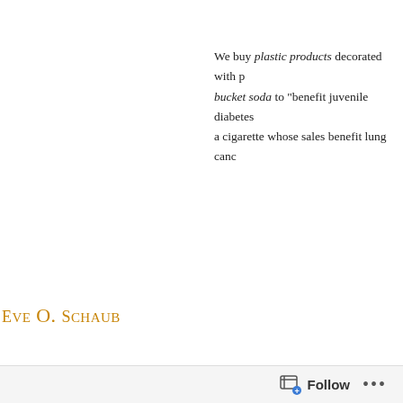We buy plastic products decorated with p... bucket soda to "benefit juvenile diabetes... a cigarette whose sales benefit lung canc...
Eve O. Schaub
YEAR OF NO GARBAGE
NO GARBAGE TIPS OF THE WEEK
YEAR OF NO CLUTTER
[Figure (photo): Photo of a large Pepsi cup in a KFC advertisement with text 'Comple... With ...' and 'And KFC' and partial text 'JD']
Follow ...